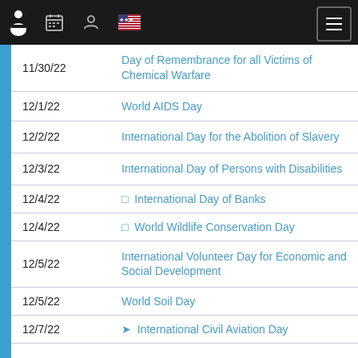Navigation bar with icons: person, calendar, user, US flag, and hamburger menu
| Date | Event |
| --- | --- |
| 11/30/22 | Day of Remembrance for all Victims of Chemical Warfare |
| 12/1/22 | World AIDS Day |
| 12/2/22 | International Day for the Abolition of Slavery |
| 12/3/22 | International Day of Persons with Disabilities |
| 12/4/22 | ☐  International Day of Banks |
| 12/4/22 | ☐  World Wildlife Conservation Day |
| 12/5/22 | International Volunteer Day for Economic and Social Development |
| 12/5/22 | World Soil Day |
| 12/7/22 | ✈  International Civil Aviation Day |